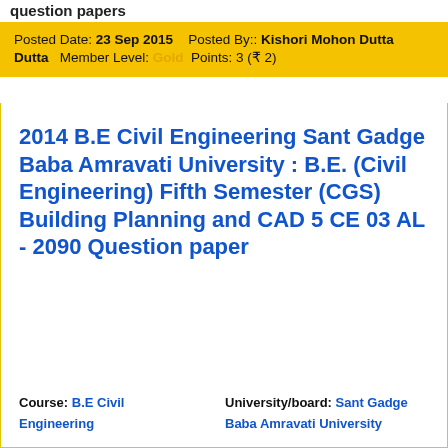question papers
Posted Date: 23 Sep 2015   Posted By:: Kishori Mohon Dutta   Member Level: Gold  Points: 3 (₹ 2)
2014 B.E Civil Engineering Sant Gadge Baba Amravati University : B.E. (Civil Engineering) Fifth Semester (CGS) Building Planning and CAD 5 CE 03 AL - 2090 Question paper
Course: B.E Civil Engineering   University/board: Sant Gadge Baba Amravati University